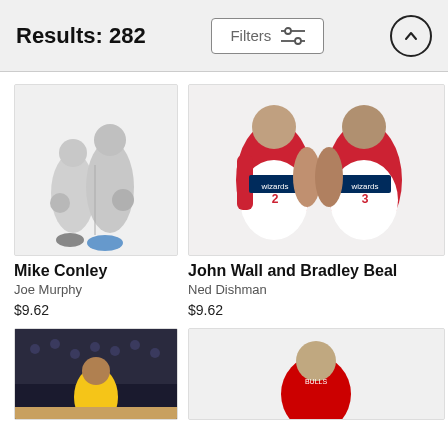Results: 282
Filters
[Figure (photo): Two Memphis Grizzlies players in white uniforms holding basketballs, posed on white background]
Mike Conley
Joe Murphy
$9.62
[Figure (photo): John Wall (#2) and Bradley Beal (#3) in Washington Wizards red/white uniforms posing with hands on hips]
John Wall and Bradley Beal
Ned Dishman
$9.62
[Figure (photo): Basketball player in yellow uniform on court with crowd in background]
[Figure (photo): Basketball player in Chicago Bulls red uniform]